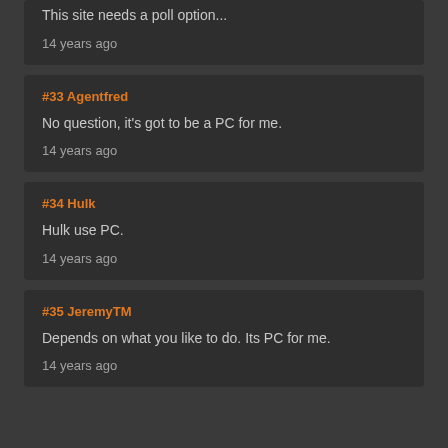This site needs a poll option...
14 years ago
#33 Agentfred
No question, it's got to be a PC for me.
14 years ago
#34 Hulk
Hulk use PC.
14 years ago
#35 JeremyTM
Depends on what you like to do. Its PC for me.
14 years ago